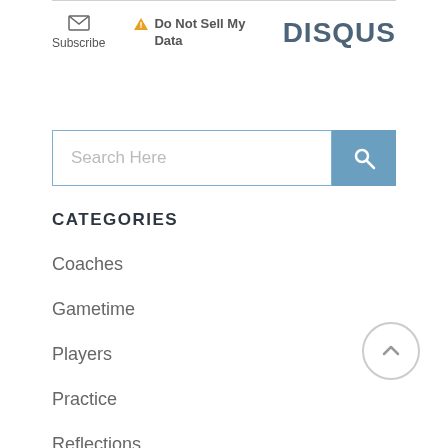[Figure (screenshot): Disqus footer bar with Subscribe envelope icon, Do Not Sell My Data warning link, and DISQUS logo]
[Figure (screenshot): Search input field with placeholder 'Search Here' and a blue search button with magnifier icon]
CATEGORIES
Coaches
Gametime
Players
Practice
Reflections